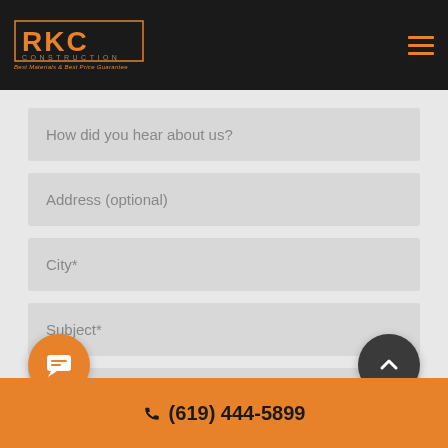RKC Construction — Best Materials & Best Price Guarantee
How did you hear about us?
Address (optional)
City*
Subject*
Project Description. (Please add as much detail as possible.)
(619) 444-5899